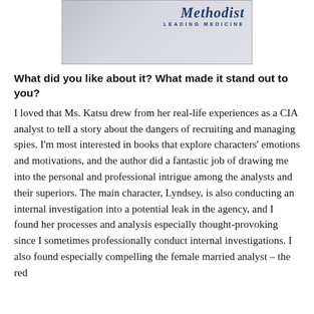[Figure (photo): Advertisement banner for Methodist Leading Medicine, showing two people in a medical/professional setting, with the text 'Methodist LEADING MEDICINE']
What did you like about it? What made it stand out to you?
I loved that Ms. Katsu drew from her real-life experiences as a CIA analyst to tell a story about the dangers of recruiting and managing spies. I'm most interested in books that explore characters' emotions and motivations, and the author did a fantastic job of drawing me into the personal and professional intrigue among the analysts and their superiors. The main character, Lyndsey, is also conducting an internal investigation into a potential leak in the agency, and I found her processes and analysis especially thought-provoking since I sometimes professionally conduct internal investigations. I also found especially compelling the female married analyst – the red